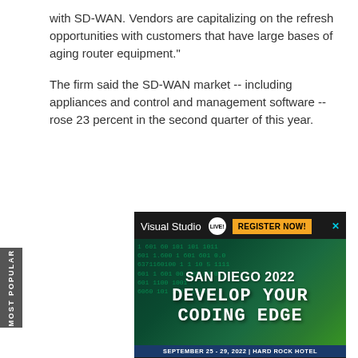with SD-WAN. Vendors are capitalizing on the refresh opportunities with customers that have large bases of aging router equipment."
The firm said the SD-WAN market -- including appliances and control and management software -- rose 23 percent in the second quarter of this year.
[Figure (screenshot): Advertisement for Visual Studio Live! conference in San Diego 2022 at Hard Rock Hotel, September 25-29, 2022. Shows 'REGISTER NOW!' button and text 'DEVELOP YOUR CODING EDGE' on a green matrix-style background.]